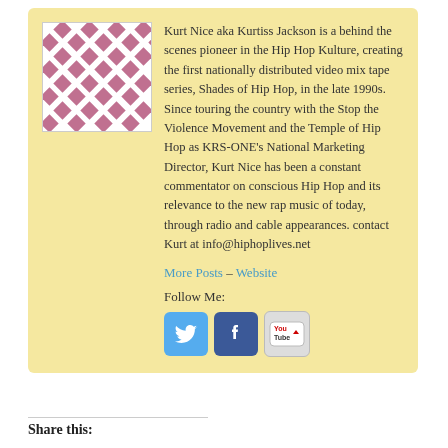[Figure (illustration): Avatar profile image with pink/mauve diamond/checkerboard pattern on white background]
Kurt Nice aka Kurtiss Jackson is a behind the scenes pioneer in the Hip Hop Kulture, creating the first nationally distributed video mix tape series, Shades of Hip Hop, in the late 1990s. Since touring the country with the Stop the Violence Movement and the Temple of Hip Hop as KRS-ONE’s National Marketing Director, Kurt Nice has been a constant commentator on conscious Hip Hop and its relevance to the new rap music of today, through radio and cable appearances. contact Kurt at info@hiphoplives.net
More Posts – Website
Follow Me:
[Figure (illustration): Social media icons: Twitter (blue bird), Facebook (blue f), YouTube (red play button)]
Share this: